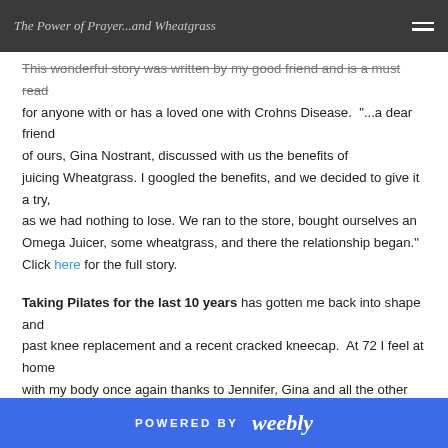The Power of Prayer...and Wheatgrass
This wonderful story was written by my good friend and is a must read for anyone with or has a loved one with Crohns Disease. "...a dear friend of ours, Gina Nostrant, discussed with us the benefits of juicing Wheatgrass. I googled the benefits, and we decided to give it a try, as we had nothing to lose. We ran to the store, bought ourselves an Omega Juicer, some wheatgrass, and there the relationship began." Click here for the full story.
Taking Pilates for the last 10 years has gotten me back into shape and past knee replacement and a recent cracked kneecap. At 72 I feel at home with my body once again thanks to Jennifer, Gina and all the other fine instructors.
~ Julia H
Professional Pilates instruction in a warm caring atmosphere. That
POWERED BY weebly